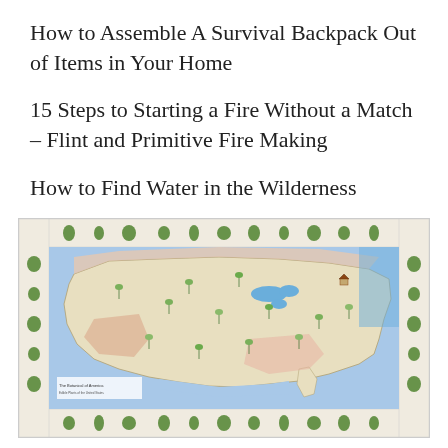How to Assemble A Survival Backpack Out of Items in Your Home
15 Steps to Starting a Fire Without a Match – Flint and Primitive Fire Making
How to Find Water in the Wilderness
[Figure (map): A botanical illustration map of the United States showing edible and medicinal plants found in different regions. The map has a beige/cream background for land areas, blue for water bodies, and is surrounded by illustrated plant specimens on all four borders. Various plant illustrations with labels are scattered across the US map.]